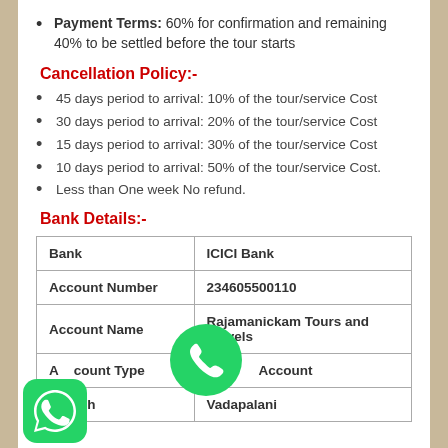Payment Terms: 60% for confirmation and remaining 40% to be settled before the tour starts
Cancellation Policy:-
45 days period to arrival: 10% of the tour/service Cost
30 days period to arrival: 20% of the tour/service Cost
15 days period to arrival: 30% of the tour/service Cost
10 days period to arrival: 50% of the tour/service Cost.
Less than One week No refund.
Bank Details:-
|  |  |
| --- | --- |
| Bank | ICICI Bank |
| Account Number | 234605500110 |
| Account Name | Rajamanickam Tours and Travels |
| Account Type | Current Account |
| Branch | Vadapalani |